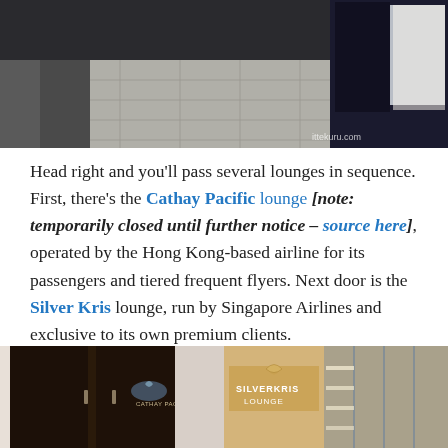[Figure (photo): Airport corridor photo showing tiled floor hallway with glass storefronts, one side dark and one side illuminated with retail displays. Watermark 'ittekuru.com' visible in bottom right.]
Head right and you'll pass several lounges in sequence. First, there's the Cathay Pacific lounge [note: temporarily closed until further notice – source here], operated by the Hong Kong-based airline for its passengers and tiered frequent flyers. Next door is the Silver Kris lounge, run by Singapore Airlines and exclusive to its own premium clients.
[Figure (photo): Two side-by-side photos: left shows the Cathay Pacific lounge entrance with dark wood doors and logo; right shows the SilverKris Lounge entrance with gold signage and glass facade.]